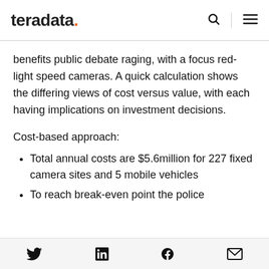teradata.
benefits public debate raging, with a focus red-light speed cameras. A quick calculation shows the differing views of cost versus value, with each having implications on investment decisions.
Cost-based approach:
Total annual costs are $5.6million for 227 fixed camera sites and 5 mobile vehicles
To reach break-even point the police
Twitter LinkedIn Facebook Email